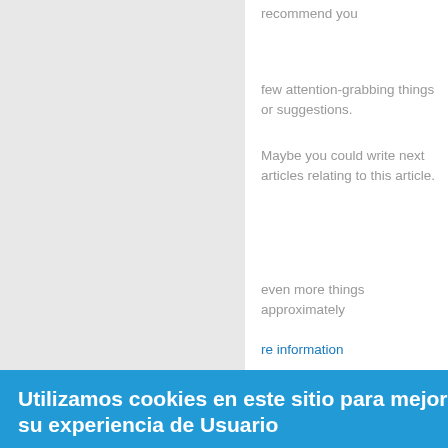recommend you
few attention-grabbing things or suggestions.
Maybe you could write next articles relating to this article.
even more things approximately
re information
responder
R KERMIT (NO VERIFICADO) EN
022 - 16:42
Utilizamos cookies en este sitio para mejorar su experiencia de Usuario
Al hacer clic en cualquier enlace de esta página, está dando su consentimento para que usemos cookies.
Más info
Sí, estoy de acuerdo
Rechazar